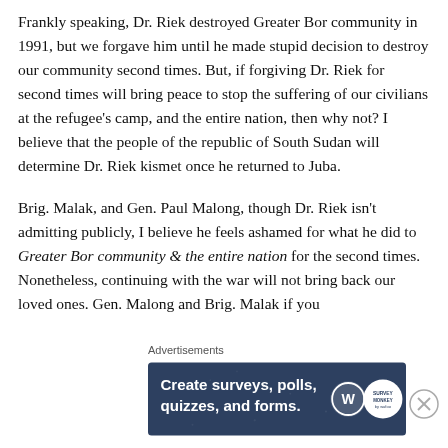Frankly speaking, Dr. Riek destroyed Greater Bor community in 1991, but we forgave him until he made stupid decision to destroy our community second times. But, if forgiving Dr. Riek for second times will bring peace to stop the suffering of our civilians at the refugee's camp, and the entire nation, then why not? I believe that the people of the republic of South Sudan will determine Dr. Riek kismet once he returned to Juba.
Brig. Malak, and Gen. Paul Malong, though Dr. Riek isn't admitting publicly, I believe he feels ashamed for what he did to Greater Bor community & the entire nation for the second times. Nonetheless, continuing with the war will not bring back our loved ones. Gen. Malong and Brig. Malak if you
Advertisements
[Figure (screenshot): Advertisement banner with dark blue background showing text 'Create surveys, polls, quizzes, and forms.' with WordPress logo and a survey badge icon.]